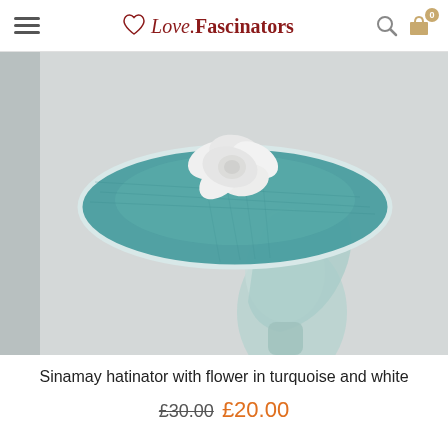Love Fascinators
[Figure (photo): A teal/turquoise sinamay hatinator with a white flower on top, displayed on a clear glass/perspex mannequin head against a light grey background.]
Sinamay hatinator with flower in turquoise and white
£30.00 £20.00